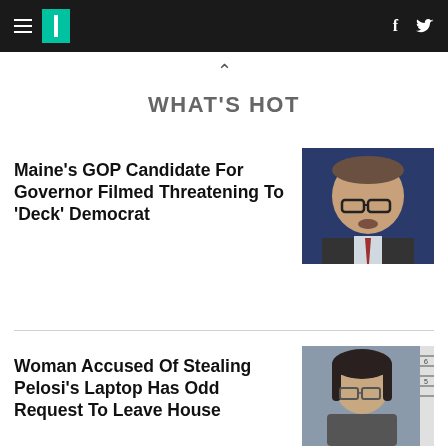HuffPost navigation header with hamburger menu, logo, Facebook and Twitter icons
WHAT'S HOT
Maine's GOP Candidate For Governor Filmed Threatening To 'Deck' Democrat
[Figure (photo): Portrait photo of an older man with glasses against a dark blue background, wearing a suit and tie]
Woman Accused Of Stealing Pelosi's Laptop Has Odd Request To Leave House